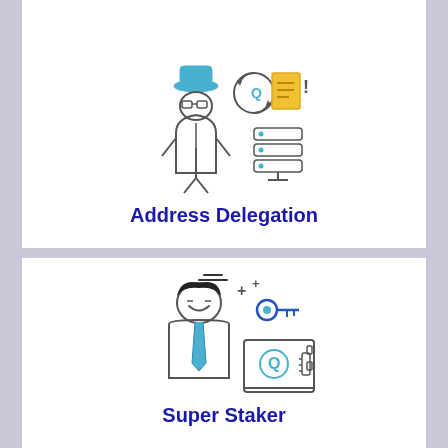[Figure (illustration): Icon illustration of a figure wearing a hat and glasses (address delegation concept) with a query/document symbol and a server/database icon]
Address Delegation
[Figure (illustration): Icon illustration of a businessman with a key and a safe/lock device (super staker concept)]
Super Staker